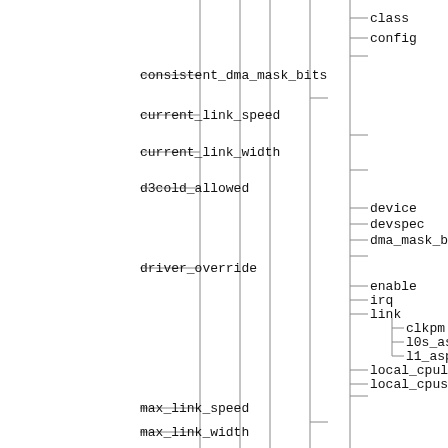[Figure (flowchart): A directory tree diagram showing filesystem or kernel sysfs entries. Left side shows entries: consistent_dma_mask_bits, current_link_speed, current_link_width, d3cold_allowed, driver_override, max_link_speed, max_link_width. Right side shows leaf entries: class, config, device, devspec, dma_mask_bits, enable, irq, link (with sub-entries clkpm, l0s_aspm, l1_aspm), local_cpulist, local_cpus, modalias, msi_bus, numa_node. Connected by tree branch lines.]